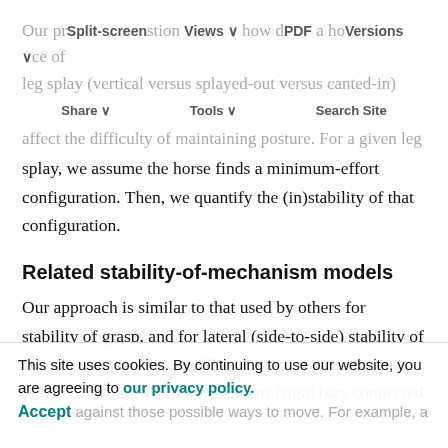Split-screen Views PDF Versions Share Tools Search Site
Our presentation shows how different a horse stance of leg splay (vertical versus splayed-out versus canted-in) affect the difficulty of maintaining posture. For a given leg splay, we assume the horse finds a minimum-effort configuration. Then, we quantify the (in)stability of that configuration.
Related stability-of-mechanism models
Our approach is similar to that used by others for stability of grasp, and for lateral (side-to-side) stability of standing people and cats. The common idea is that these systems, idealized as a mechanisms (rigid bars connected with closets, still have some boundary energy while respecting the constraints. The best configuration must be optimized against those possible ways to move. For example, a
This site uses cookies. By continuing to use our website, you are agreeing to our privacy policy. Accept